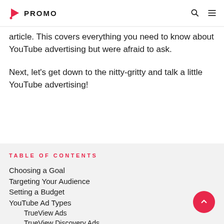PROMO
article. This covers everything you need to know about YouTube advertising but were afraid to ask.
Next, let's get down to the nitty-gritty and talk a little YouTube advertising!
TABLE OF CONTENTS
Choosing a Goal
Targeting Your Audience
Setting a Budget
YouTube Ad Types
TrueView Ads
TrueView Discovery Ads